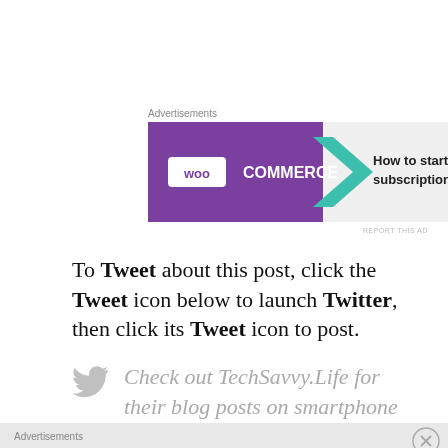Advertisements
[Figure (screenshot): WooCommerce advertisement banner: purple left side with WooCommerce logo and teal arrow, light grey right side with text 'How to start selling subscriptions online' and decorative orange and blue shapes]
REPORT THIS AD
To Tweet about this post, click the Tweet icon below to launch Twitter, then click its Tweet icon to post.
[Figure (illustration): Twitter bird icon in grey]
Check out TechSavvy.Life for their blog posts on smartphone apps, PCs. and Macs!
Advertisements